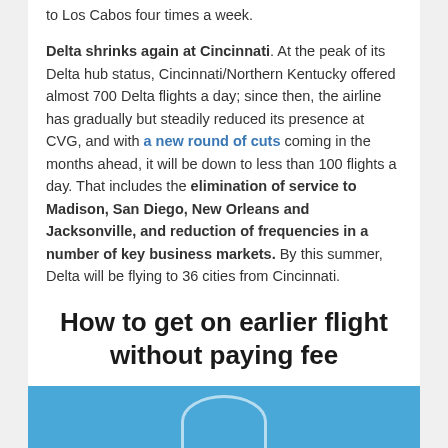to Los Cabos four times a week.
Delta shrinks again at Cincinnati. At the peak of its Delta hub status, Cincinnati/Northern Kentucky offered almost 700 Delta flights a day; since then, the airline has gradually but steadily reduced its presence at CVG, and with a new round of cuts coming in the months ahead, it will be down to less than 100 flights a day. That includes the elimination of service to Madison, San Diego, New Orleans and Jacksonville, and reduction of frequencies in a number of key business markets. By this summer, Delta will be flying to 36 cities from Cincinnati.
How to get on earlier flight without paying fee
[Figure (photo): Blue sky image with a white arc shape visible at the bottom, partially cropped]